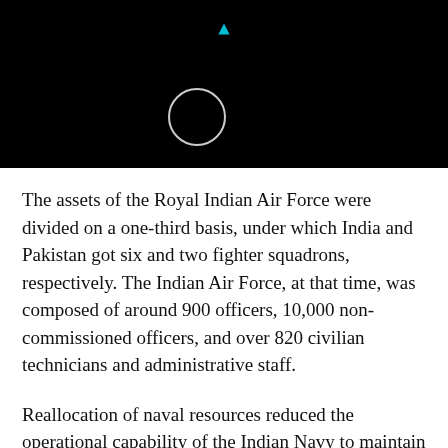[Figure (other): Black top bar with a circular loading spinner icon and a small blue triangle/arrow indicator at the top center]
The assets of the Royal Indian Air Force were divided on a one-third basis, under which India and Pakistan got six and two fighter squadrons, respectively. The Indian Air Force, at that time, was composed of around 900 officers, 10,000 non-commissioned officers, and over 820 civilian technicians and administrative staff.
Reallocation of naval resources reduced the operational capability of the Indian Navy to maintain vigilance and patrol the eastern and western coasts of India as well as the islands of Andaman and Nicobar.